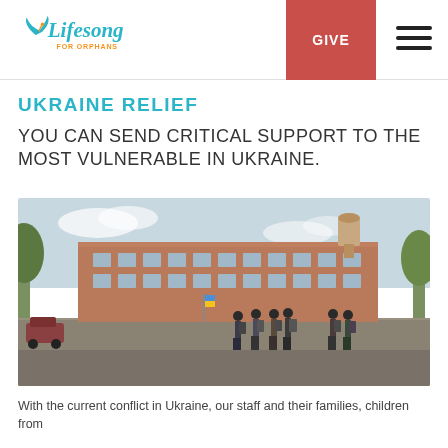Lifesong for Orphans — GIVE
UKRAINE RELIEF
YOU CAN SEND CRITICAL SUPPORT TO THE MOST VULNERABLE IN UKRAINE.
[Figure (photo): Group of children and adults with backpacks walking across a cobblestone courtyard in front of a large brick building, with trees and a light sky in the background.]
With the current conflict in Ukraine, our staff and their families, children from